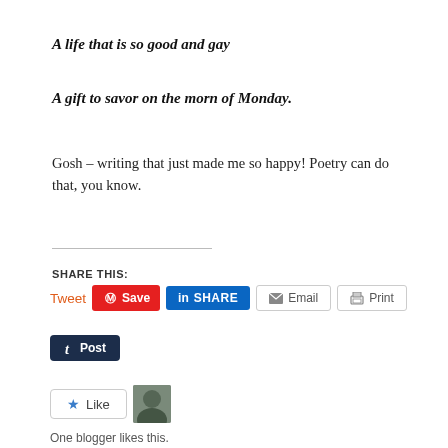A life that is so good and gay
A gift to savor on the morn of Monday.
Gosh – writing that just made me so happy! Poetry can do that, you know.
SHARE THIS:
[Figure (screenshot): Social share buttons: Tweet, Save (Pinterest), SHARE (LinkedIn), Email, Print, Post (Tumblr)]
[Figure (screenshot): Like button and blogger avatar. Text: One blogger likes this.]